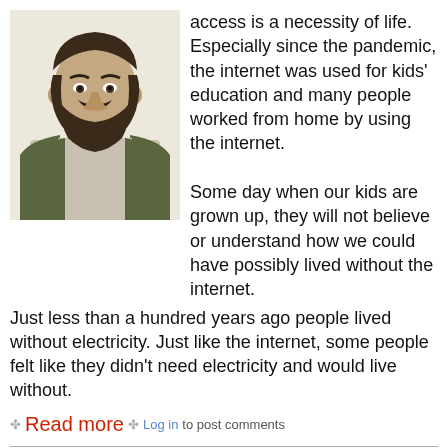[Figure (photo): Headshot of a bearded man wearing a green jacket over a light-colored shirt, against a light background]
access is a necessity of life. Especially since the pandemic, the internet was used for kids' education and many people worked from home by using the internet.
Some day when our kids are grown up, they will not believe or understand how we could have possibly lived without the internet.
Just less than a hundred years ago people lived without electricity. Just like the internet, some people felt like they didn't need electricity and would live without.
Read more  Log in to post comments
Whomp!